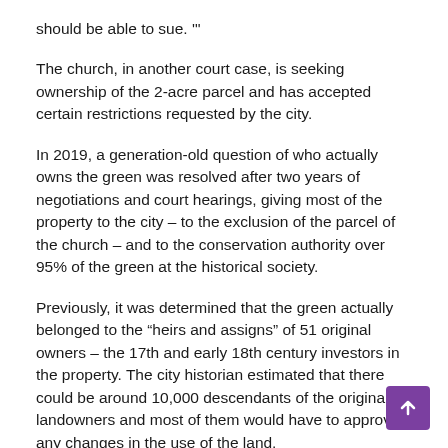should be able to sue. '"
The church, in another court case, is seeking ownership of the 2-acre parcel and has accepted certain restrictions requested by the city.
In 2019, a generation-old question of who actually owns the green was resolved after two years of negotiations and court hearings, giving most of the property to the city – to the exclusion of the parcel of the church – and to the conservation authority over 95% of the green at the historical society.
Previously, it was determined that the green actually belonged to the “heirs and assigns” of 51 original owners – the 17th and early 18th century investors in the property. The city historian estimated that there could be around 10,000 descendants of the original landowners and most of them would have to approve any changes in the use of the land.
City officials, in a court case seeking to declare the city the